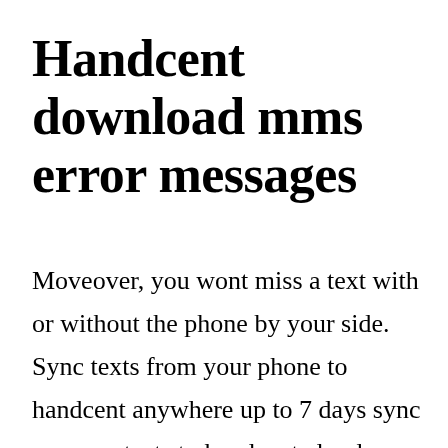Handcent download mms error messages
Moveover, you wont miss a text with or without the phone by your side. Sync texts from your phone to handcent anywhere up to 7 days sync your contacts to handcent cloud, never worry about finding your contacts again. Using the sms mms android application, you may have already